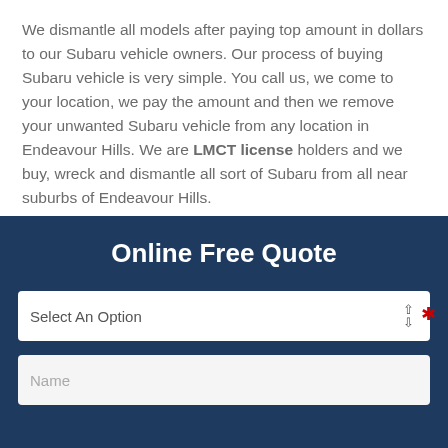We dismantle all models after paying top amount in dollars to our Subaru vehicle owners. Our process of buying Subaru vehicle is very simple. You call us, we come to your location, we pay the amount and then we remove your unwanted Subaru vehicle from any location in Endeavour Hills. We are LMCT license holders and we buy, wreck and dismantle all sort of Subaru from all near suburbs of Endeavour Hills.
Online Free Quote
Select An Option
Name